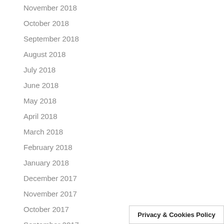November 2018
October 2018
September 2018
August 2018
July 2018
June 2018
May 2018
April 2018
March 2018
February 2018
January 2018
December 2017
November 2017
October 2017
September 2017
Privacy & Cookies Policy